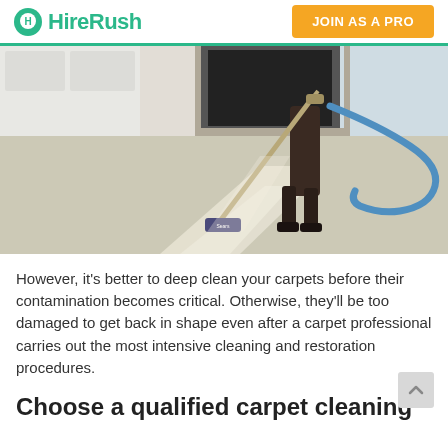HireRush | JOIN AS A PRO
[Figure (photo): A person in dark clothing using a Sears carpet cleaning machine on a light beige/cream carpet in a living room with a fireplace and white cabinetry in the background. A blue hose is visible.]
However, it's better to deep clean your carpets before their contamination becomes critical. Otherwise, they'll be too damaged to get back in shape even after a carpet professional carries out the most intensive cleaning and restoration procedures.
Choose a qualified carpet cleaning